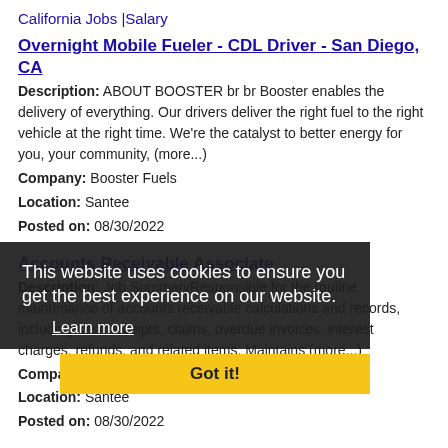California Jobs |Salary
Overnight Mobile Fueler - CDL Driver - San Diego, CA
Description: ABOUT BOOSTER br br Booster enables the delivery of everything. Our drivers deliver the right fuel to the right vehicle at the right time. We're the catalyst to better energy for you, your community, (more...)
Company: Booster Fuels
Location: Santee
Posted on: 08/30/2022
Accounts Receivable Associate
Description: Job SummaryResponsible for the routine maintenance of accounts receivable calculations and records, including cash receipts, claims, overdue invoices, interest charges, refunds, and related items. Maintains (more...)
Company: ...
Location: Santee
Posted on: 08/30/2022
[Figure (screenshot): Cookie consent overlay with dark background showing 'This website uses cookies to ensure you get the best experience on our website.' with a 'Learn more' link and a yellow 'Got it!' button]
Overnight Mobile Fueler - CDL Driver - San Diego, CA
Description: ABOUT BOOSTER br br Booster enables the delivery of everything. Our drivers deliver the right fuel to the right vehicle at the right time. We're the catalyst to better energy for you, your